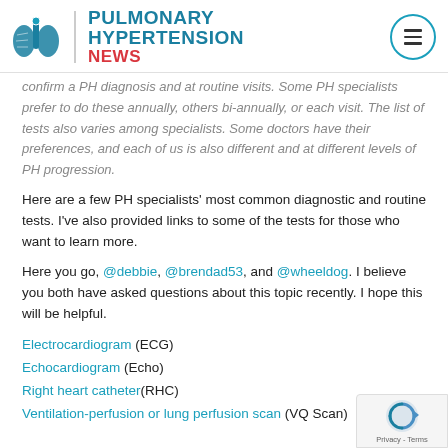PULMONARY HYPERTENSION NEWS
confirm a PH diagnosis and at routine visits. Some PH specialists prefer to do these annually, others bi-annually, or each visit. The list of tests also varies among specialists. Some doctors have their preferences, and each of us is also different and at different levels of PH progression.
Here are a few PH specialists' most common diagnostic and routine tests. I've also provided links to some of the tests for those who want to learn more.
Here you go, @debbie, @brendad53, and @wheeldog. I believe you both have asked questions about this topic recently. I hope this will be helpful.
Electrocardiogram (ECG)
Echocardiogram (Echo)
Right heart catheter(RHC)
Ventilation-perfusion or lung perfusion scan (VQ Scan)